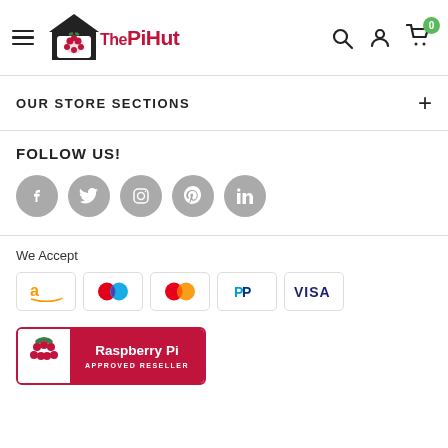The Pi Hut - navigation header with hamburger menu, logo, search, account, and cart icons
OUR STORE SECTIONS
FOLLOW US!
[Figure (infographic): Social media icons: Facebook, Twitter, Instagram, Pinterest, LinkedIn - all grey circles]
We Accept
[Figure (infographic): Payment method icons: Amazon, Maestro, Mastercard, PayPal, Visa]
[Figure (logo): Raspberry Pi Approved Reseller badge with raspberry logo and red background text]